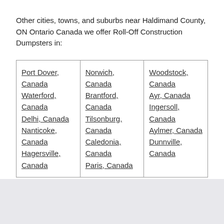Other cities, towns, and suburbs near Haldimand County, ON Ontario Canada we offer Roll-Off Construction Dumpsters in:
| Port Dover, Canada
Waterford, Canada
Delhi, Canada
Nanticoke, Canada
Hagersville, Canada | Norwich, Canada
Brantford, Canada
Tilsonburg, Canada
Caledonia, Canada
Paris, Canada | Woodstock, Canada
Ayr, Canada
Ingersoll, Canada
Aylmer, Canada
Dunnville, Canada |